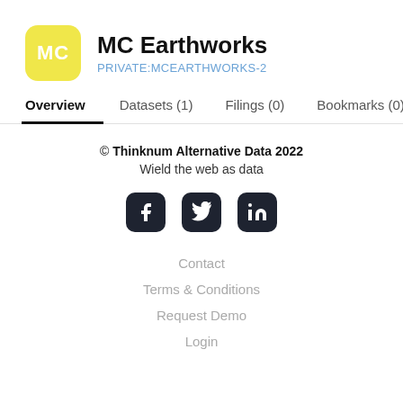MC Earthworks
PRIVATE:MCEARTHWORKS-2
Overview    Datasets (1)    Filings (0)    Bookmarks (0)
© Thinknum Alternative Data 2022
Wield the web as data
[Figure (illustration): Social media icons: Facebook, Twitter, LinkedIn in dark rounded square boxes]
Contact
Terms & Conditions
Request Demo
Login